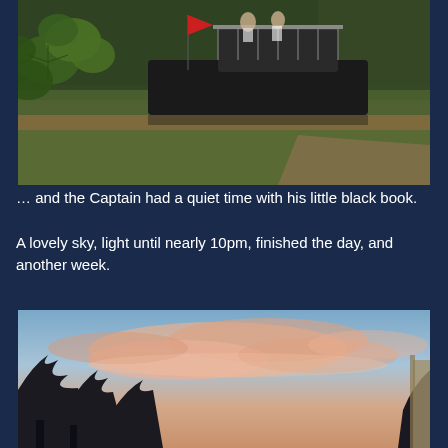[Figure (photo): A canal boat moored along a waterway. Green foliage and grape-like leaves in the foreground, muddy brown canal water visible, grassy bank, a dark-hulled narrowboat with a red flag and people on deck, trees in the background.]
… and the Captain had a quiet time with his little black book.
A lovely sky, light until nearly 10pm, finished the day, and another week.
[Figure (photo): A lovely sunset sky with pastel pink and peach clouds against a soft blue sky. Dark silhouettes of trees in the foreground and a building edge visible on the right.]